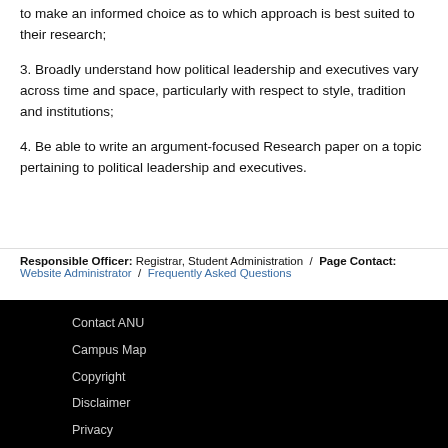to make an informed choice as to which approach is best suited to their research;
3. Broadly understand how political leadership and executives vary across time and space, particularly with respect to style, tradition and institutions;
4. Be able to write an argument-focused Research paper on a topic pertaining to political leadership and executives.
Responsible Officer: Registrar, Student Administration / Page Contact: Website Administrator / Frequently Asked Questions
Contact ANU
Campus Map
Copyright
Disclaimer
Privacy
Freedom of